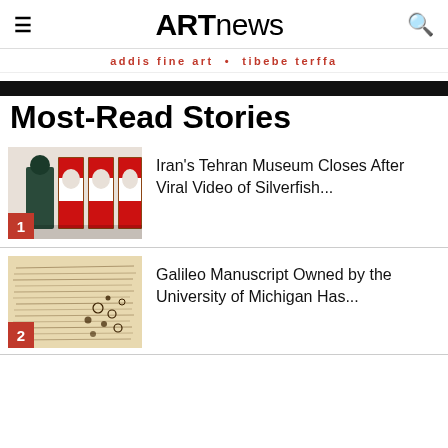ARTnews
addis fine art • tibebe terffa
Most-Read Stories
[Figure (photo): Photo of Campbell's Soup Cans artwork displayed on a gallery wall, with a person in dark clothing viewing them. Number badge '1' in red at bottom left.]
Iran's Tehran Museum Closes After Viral Video of Silverfish...
[Figure (photo): Photo of a Galileo manuscript with handwritten text and diagrams on aged paper. Number badge '2' in red at bottom left.]
Galileo Manuscript Owned by the University of Michigan Has...